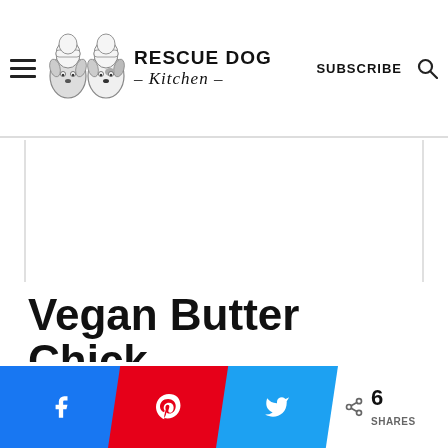RESCUE DOG - Kitchen -
Vegan Butter Chick...
[Figure (screenshot): White blank image/ad area below the navigation header]
6 SHARES